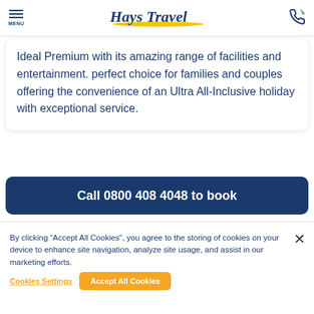MENU | Hays Travel | [phone icon]
Ideal Premium with its amazing range of facilities and entertainment. perfect choice for families and couples offering the convenience of an Ultra All-Inclusive holiday with exceptional service.
Call 0800 408 4048 to book
By clicking “Accept All Cookies”, you agree to the storing of cookies on your device to enhance site navigation, analyze site usage, and assist in our marketing efforts.
Cookies Settings | Accept All Cookies